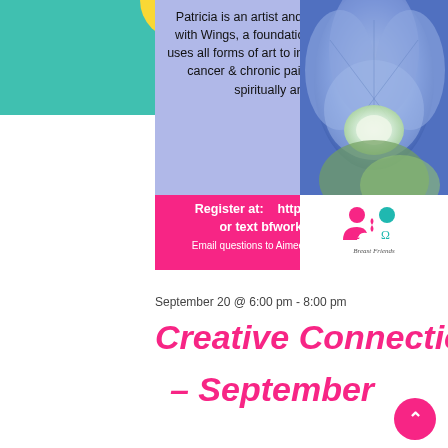[Figure (infographic): Top banner with teal background, yellow circle top center, hot pink circle top right. Text reads 'recieveing materials on time' in white on pink circle.]
Patricia is an artist and the founder of Women with Wings, a foundation offering services that uses all forms of art to inspire those affected with cancer & chronic pain to heal emotionally, spiritually and physically.
[Figure (photo): Close-up photo of a blue/purple flower with light center and green tones.]
Register at:    https://igfn.us/l/1hkusl or text bfworkshop to 41444
Email questions to Aimee.Berg@breastfriends.org
[Figure (logo): Breast Friends logo with two female silhouettes (pink and teal) and a pink ribbon, text 'Breast Friends' below.]
September 20 @ 6:00 pm - 8:00 pm
Creative Connections – September